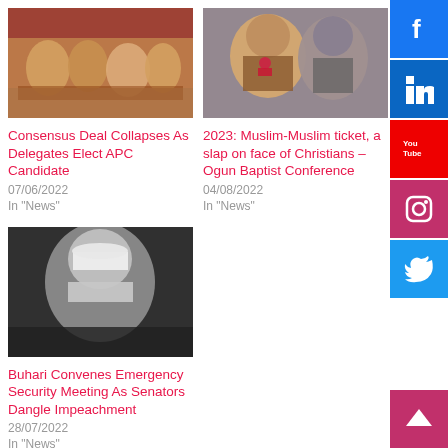[Figure (photo): Meeting scene with people seated around a table with red tablecloth]
Consensus Deal Collapses As Delegates Elect APC Candidate
07/06/2022
In "News"
[Figure (photo): Two men, one smiling with microphone, one in cap looking serious]
2023: Muslim-Muslim ticket, a slap on face of Christians – Ogun Baptist Conference
04/08/2022
In "News"
[Figure (photo): Black and white photo of man in white cap wearing a face mask]
Buhari Convenes Emergency Security Meeting As Senators Dangle Impeachment
28/07/2022
In "News"